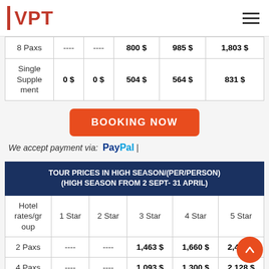VPT
|  | 1 Star | 2 Star | 3 Star | 4 Star | 5 Star |
| --- | --- | --- | --- | --- | --- |
| 8 Paxs | ---- | ---- | 800 $ | 985 $ | 1,803 $ |
| Single Supplement | 0 $ | 0 $ | 504 $ | 564 $ | 831 $ |
BOOKING NOW
We accept payment via: PayPal |
| TOUR PRICES IN HIGH SEASON/(PER/PERSON) (HIGH SEASON FROM 2 SEPT- 31 APRIL) |
| --- |
| Hotel rates/group | 1 Star | 2 Star | 3 Star | 4 Star | 5 Star |
| 2 Paxs | ---- | ---- | 1,463 $ | 1,660 $ | 2,474 $ |
| 4 Paxs | ---- | ---- | 1,093 $ | 1,300 $ | 2,128 $ |